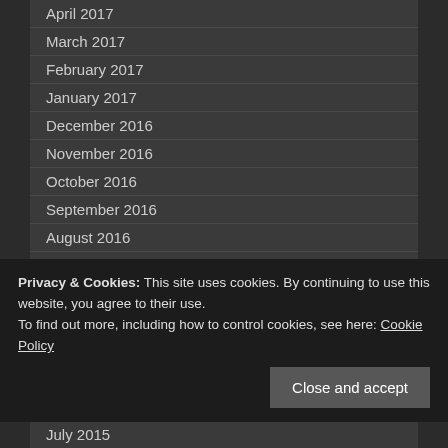April 2017
March 2017
February 2017
January 2017
December 2016
November 2016
October 2016
September 2016
August 2016
July 2016
June 2016
May 2016
April 2016
March 2016
February 2016
Privacy & Cookies: This site uses cookies. By continuing to use this website, you agree to their use.
To find out more, including how to control cookies, see here: Cookie Policy
July 2015